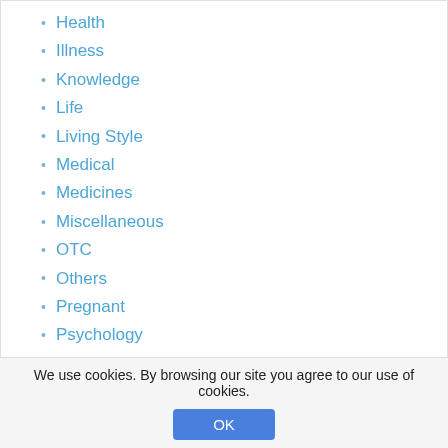Health
Illness
Knowledge
Life
Living Style
Medical
Medicines
Miscellaneous
OTC
Others
Pregnant
Psychology
QAs
Share
Surgery
Symptoms
Trivial
Women
We use cookies. By browsing our site you agree to our use of cookies.